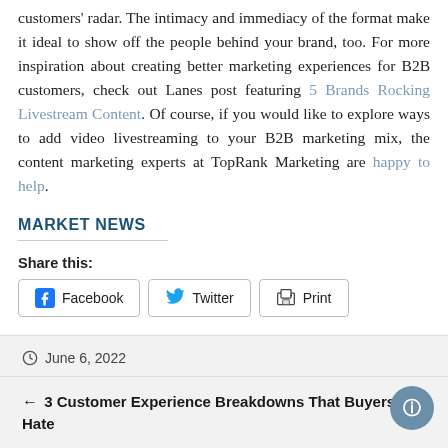customers' radar. The intimacy and immediacy of the format make it ideal to show off the people behind your brand, too. For more inspiration about creating better marketing experiences for B2B customers, check out Lanes post featuring 5 Brands Rocking Livestream Content. Of course, if you would like to explore ways to add video livestreaming to your B2B marketing mix, the content marketing experts at TopRank Marketing are happy to help.
MARKET NEWS
Share this:
[Figure (other): Share buttons: Facebook, Twitter, Print]
June 6, 2022
← 3 Customer Experience Breakdowns That Buyers Hate